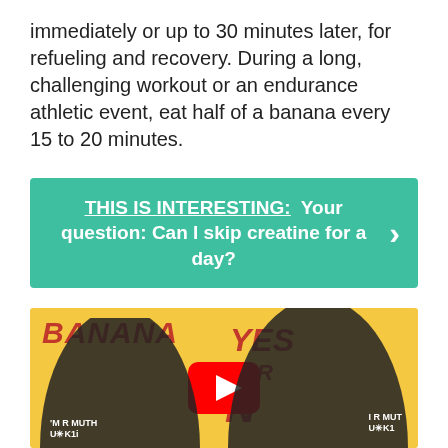immediately or up to 30 minutes later, for refueling and recovery. During a long, challenging workout or an endurance athletic event, eat half of a banana every 15 to 20 minutes.
[Figure (infographic): Green/teal banner with text: THIS IS INTERESTING: Your question: Can I skip creatine for a day? with a right arrow chevron on the right side.]
[Figure (screenshot): YouTube video thumbnail with yellow background showing two men and text BANANA YES OR NO with a YouTube play button overlay.]